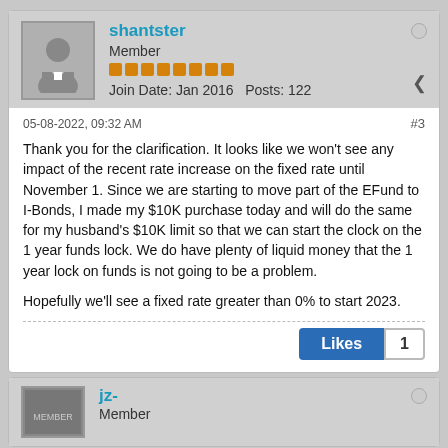[Figure (illustration): Forum user avatar: gray silhouette of a person on a gray background]
shantster
Member
Join Date: Jan 2016    Posts: 122
05-08-2022, 09:32 AM
#3
Thank you for the clarification. It looks like we won't see any impact of the recent rate increase on the fixed rate until November 1. Since we are starting to move part of the EFund to I-Bonds, I made my $10K purchase today and will do the same for my husband's $10K limit so that we can start the clock on the 1 year funds lock. We do have plenty of liquid money that the 1 year lock on funds is not going to be a problem.

Hopefully we'll see a fixed rate greater than 0% to start 2023.
Likes  1
jz-
Member